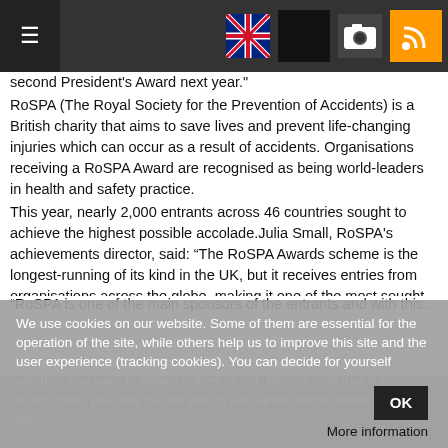[Figure (screenshot): Website navigation bar with hamburger menu on left and icons (UK flag, black square, camera, RSS) on right]
second President's Award next year."
RoSPA (The Royal Society for the Prevention of Accidents) is a British charity that aims to save lives and prevent life-changing injuries which can occur as a result of accidents. Organisations receiving a RoSPA Award are recognised as being world-leaders in health and safety practice.
This year, nearly 2,000 entrants across 46 countries sought to achieve the highest possible accolade.Julia Small, RoSPA's achievements director, said: “The RoSPA Awards scheme is the longest-running of its kind in the UK, but it receives entries from organisations across the globe, making it one of the most sought-after achievement awards for health and safety worldwide.
We use cookies on our website. Some of them are essential for the operation of the site, while others help us to improve this site and the user experience (tracking cookies). You can decide for yourself whether you want to allow cookies or not. Please note that if you reject them, you may not be able to use all the functionalities of the site.
OK
More information